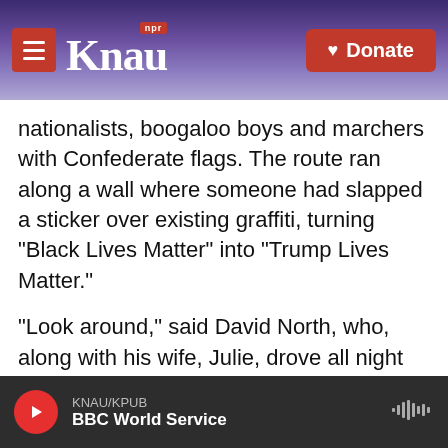KNAU NPR — Donate
nationalists, boogaloo boys and marchers with Confederate flags. The route ran along a wall where someone had slapped a sticker over existing graffiti, turning "Black Lives Matter" into "Trump Lives Matter."
"Look around," said David North, who, along with his wife, Julie, drove all night from eastern Tennessee to attend. "Is this fringe?"
In a way, that's the question: Is "fringe" still accurate if debunked ideas are endorsed by 70 million voters?
KNAU/KPUB — BBC World Service